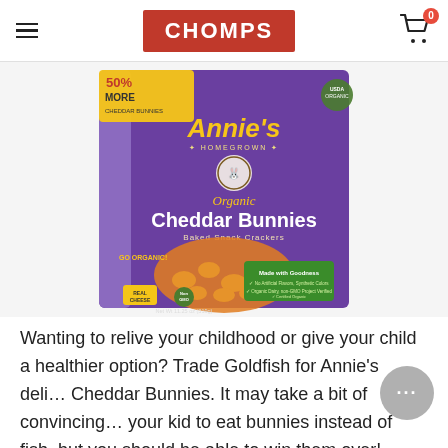CHOMPS
[Figure (photo): Annie's Homegrown Organic Cheddar Bunnies Baked Snack Crackers box, purple packaging with yellow bunny-shaped crackers, Net Wt 11.25 oz (319g), '50% More' banner, 'Go Organic!' text, 'Made with Goodness' green panel, 'Real Cheese' and 'Non GMO' badges, USA Organic seal.]
Wanting to relive your childhood or give your child a healthier option? Trade Goldfish for Annie's deli… Cheddar Bunnies. It may take a bit of convincing… your kid to eat bunnies instead of fish, but you should be able to win them over!